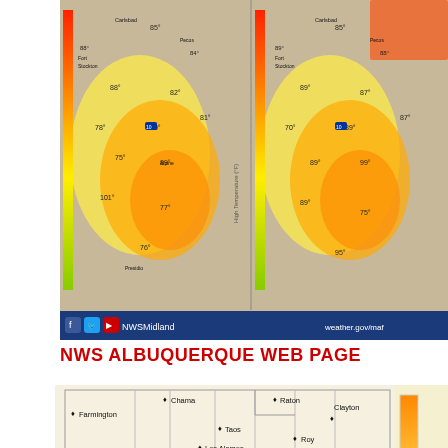[Figure (map): NWS Midland weather map showing high temperatures across Texas/New Mexico region, displayed as two side-by-side panels with temperature overlays ranging from yellow to orange. Social media icons and NWSMidland branding at bottom with weather.gov/maf URL.]
NWS ALBUQUERQUE WEB PAGE
[Figure (map): NWS Albuquerque web page map of New Mexico showing cities: Farmington, Chama, Raton, Clayton, Taos, Roy, Los Alamos, Gallup, Santa Fe, Las Vegas, Albuquerque, Grants, Moriarty, Tucumcari, Santa Rosa, Clovis, Portales, Socorro. Map has a yellow/tan gradient legend bar on the right side.]